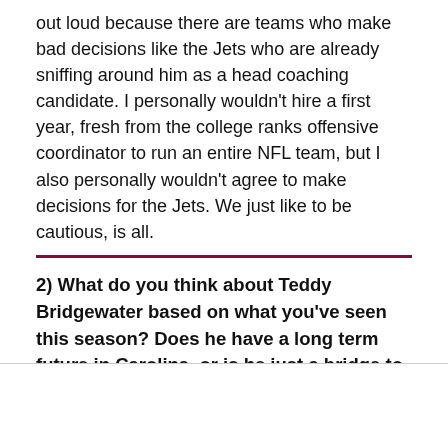out loud because there are teams who make bad decisions like the Jets who are already sniffing around him as a head coaching candidate. I personally wouldn't hire a first year, fresh from the college ranks offensive coordinator to run an entire NFL team, but I also personally wouldn't agree to make decisions for the Jets. We just like to be cautious, is all.
2) What do you think about Teddy Bridgewater based on what you've seen this season? Does he have a long term future in Carolina, or is he just a bridge to the next QB?
[Figure (logo): Circular sports logo with a cartoon character in gold and red colors]
[Figure (logo): Twitter bird icon in blue]
[Figure (logo): Facebook f icon in dark blue]